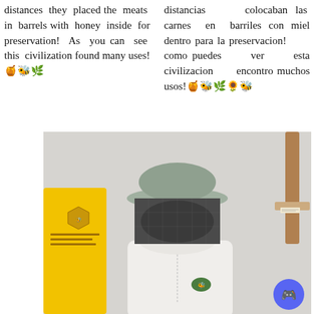distances they placed the meats in barrels with honey inside for preservation! As you can see this civilization found many uses!🍯🐝🌿
distancias colocaban las carnes en barriles con miel dentro para la preservacion! como puedes ver esta civilizacion encontro muchos usos!🍯🐝🌿🌻🐝
[Figure (photo): A person wearing a white beekeeping suit with a round veiled hat/helmet, standing in front of a white wall. On the left is a yellow package/box with a hexagonal bee logo. On the right is a wooden tool (hive tool/smoker) hanging on the wall. A Discord button is visible in the bottom right corner.]